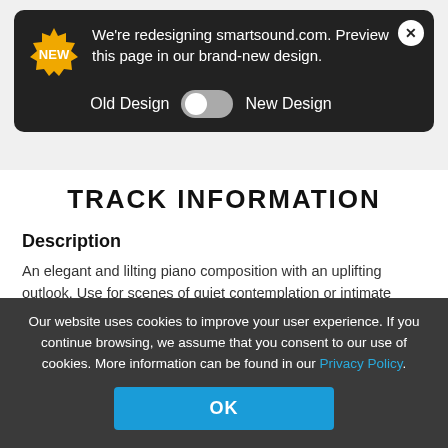[Figure (screenshot): Dark notification banner saying 'We're redesigning smartsound.com. Preview this page in our brand-new design.' with a NEW badge icon, a toggle switch between 'Old Design' and 'New Design', and a close button.]
TRACK INFORMATION
Description
An elegant and lilting piano composition with an uplifting outlook. Use for scenes of quiet contemplation or intimate narration. Based on Eric Satie's Gymnopedie #2.
Genre   Classical   Lyrical   New Age   Waltz
Our website uses cookies to improve your user experience. If you continue browsing, we assume that you consent to our use of cookies. More information can be found in our Privacy Policy.